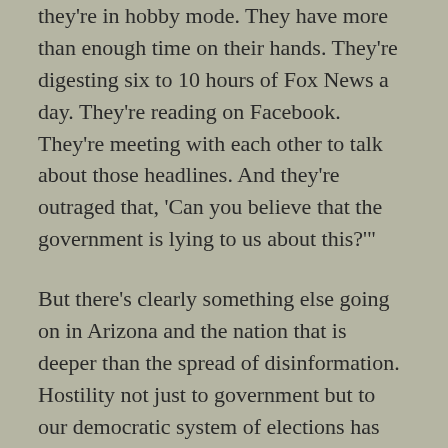they're in hobby mode. They have more than enough time on their hands. They're digesting six to 10 hours of Fox News a day. They're reading on Facebook. They're meeting with each other to talk about those headlines. And they're outraged that, 'Can you believe that the government is lying to us about this?'"
But there's clearly something else going on in Arizona and the nation that is deeper than the spread of disinformation. Hostility not just to government but to our democratic system of elections has been growing on the right for quite some time. It was evident during the Supreme Court coup of Bush v. Gore and the contempt Republicans expressed for the 2000 Democratic popular-vote victory. It was more fully manifest in the nasty right-wing reaction to the election of Barack Obama, whose legitimacy as president was regularly challenged and whose social and economic policies